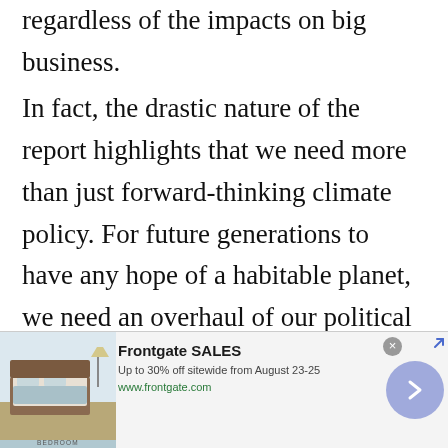regardless of the impacts on big business.
In fact, the drastic nature of the report highlights that we need more than just forward-thinking climate policy. For future generations to have any hope of a habitable planet, we need an overhaul of our political priorities with climate resiliency, not profit, as the primary center point.  The extractive mode
[Figure (other): Advertisement banner for Frontgate SALES - Up to 30% off sitewide from August 23-25. Shows a bedroom image on the left with text and www.frontgate.com URL, a close button, and a blue circular arrow navigation button.]